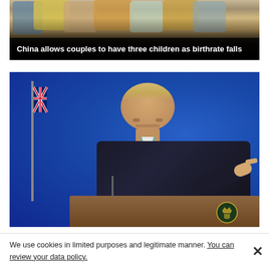[Figure (photo): Photo of a group of people sitting, with a dark overlay at the bottom. Caption reads: China allows couples to have three children as birthrate falls]
China allows couples to have three children as birthrate falls
[Figure (photo): Photo of a man (Boris Johnson) standing at a podium with a UK flag to his left and a blue background, pointing with his right hand during a press conference.]
We use cookies in limited purposes and legitimate manner. You can review your data policy.